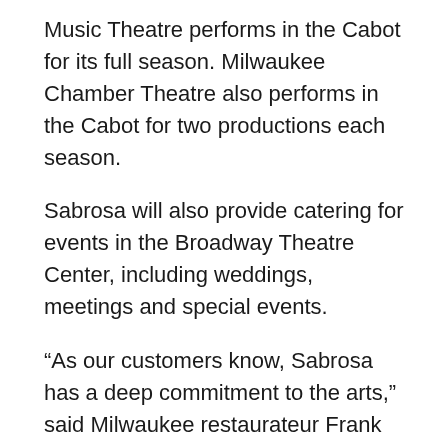Music Theatre performs in the Cabot for its full season. Milwaukee Chamber Theatre also performs in the Cabot for two productions each season.
Sabrosa will also provide catering for events in the Broadway Theatre Center, including weddings, meetings and special events.
“As our customers know, Sabrosa has a deep commitment to the arts,” said Milwaukee restaurateur Frank Sanchez, who runs Sabrosa Café & Gallery with pianist Ruben Piirainen. “Our partnership with Skylight Music Theatre and the Broadway Theatre Center is the perfect marriage to combine our love of the arts and food.”
Sabrosa's flagship café in Bay View hosts live music performances weekly and offers an art gallery featuring